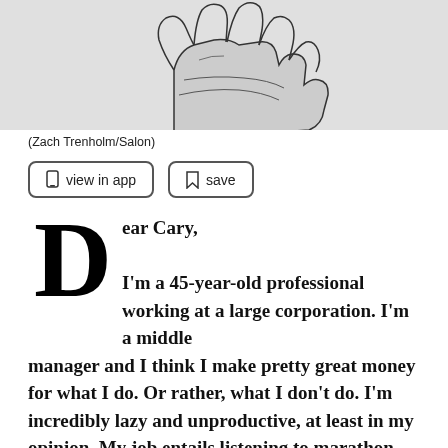[Figure (illustration): Partial illustration of a hand/fist, black and white line drawing on light gray background, cropped at top]
(Zach Trenholm/Salon)
view in app
save
Dear Cary,

I'm a 45-year-old professional working at a large corporation. I'm a middle manager and I think I make pretty great money for what I do. Or rather, what I don't do. I'm incredibly lazy and unproductive, at least in my opinion. My job entails listening to marathon conference calls as we are geographically diverse. They are all so